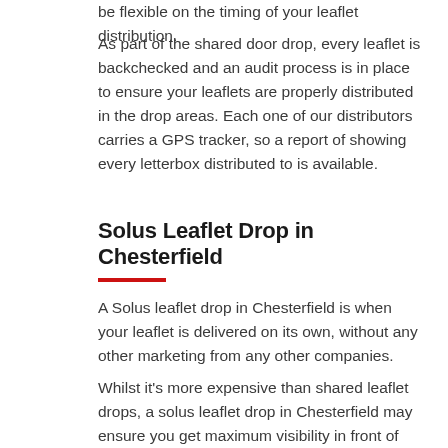be flexible on the timing of your leaflet distribution. As part of the shared door drop, every leaflet is backchecked and an audit process is in place to ensure your leaflets are properly distributed in the drop areas. Each one of our distributors carries a GPS tracker, so a report of showing every letterbox distributed to is available.
Solus Leaflet Drop in Chesterfield
A Solus leaflet drop in Chesterfield is when your leaflet is delivered on its own, without any other marketing from any other companies.
Whilst it's more expensive than shared leaflet drops, a solus leaflet drop in Chesterfield may ensure you get maximum visibility in front of your target customer by being the only leaflet put through their